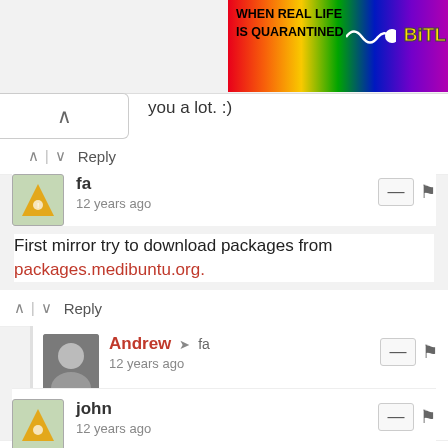[Figure (screenshot): Partial banner ad with rainbow gradient background, text 'WHEN REAL LIFE IS QUARANTINED' and partial logo 'BitL']
you a lot. :)
Reply
fa
12 years ago
First mirror try to download packages from packages.medibuntu.org.
Reply
Andrew → fa
12 years ago
Maybe you have medibuntu into /etc/apt/sources.list.d/medibuntu.list
Reply
john
12 years ago